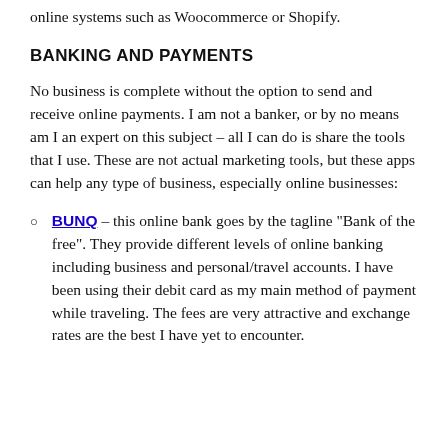online systems such as Woocommerce or Shopify.
BANKING AND PAYMENTS
No business is complete without the option to send and receive online payments. I am not a banker, or by no means am I an expert on this subject – all I can do is share the tools that I use. These are not actual marketing tools, but these apps can help any type of business, especially online businesses:
BUNQ – this online bank goes by the tagline "Bank of the free". They provide different levels of online banking including business and personal/travel accounts. I have been using their debit card as my main method of payment while traveling. The fees are very attractive and exchange rates are the best I have yet to encounter.